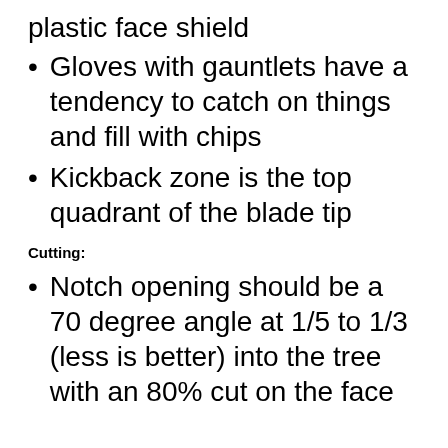plastic face shield
Gloves with gauntlets have a tendency to catch on things and fill with chips
Kickback zone is the top quadrant of the blade tip
Cutting:
Notch opening should be a 70 degree angle at 1/5 to 1/3 (less is better) into the tree with an 80% cut on the face